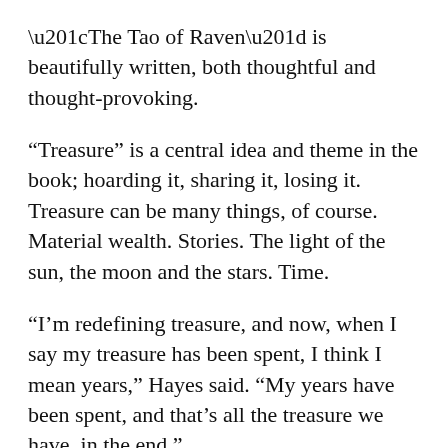“The Tao of Raven” is beautifully written, both thoughtful and thought-provoking.
“Treasure” is a central idea and theme in the book; hoarding it, sharing it, losing it. Treasure can be many things, of course. Material wealth. Stories. The light of the sun, the moon and the stars. Time.
“I’m redefining treasure, and now, when I say my treasure has been spent, I think I mean years,” Hayes said. “My years have been spent, and that’s all the treasure we have, in the end.”
Hayes writes “Although Raven could well have decided to keep light and luster and blinding brilliance for only his own pleasure, he knew that to keep riches to oneself guarantees their decline. In this regard, Raven was wiser than even that old man